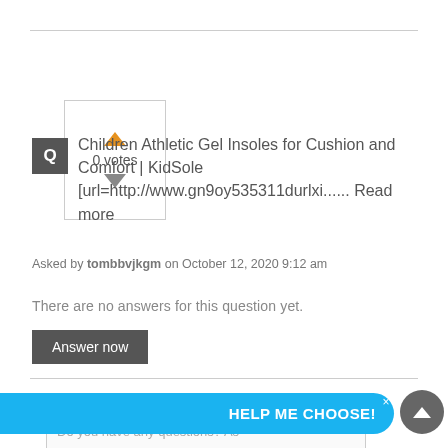0 votes
Q  Children Athletic Gel Insoles for Cushion and Comfort | KidSole [url=http://www.gn9oy535311durlxi...... Read more
Asked by tombbvjkgm on October 12, 2020 9:12 am
There are no answers for this question yet.
Answer now
Your question *
Do you have any questions? As
HELP ME CHOOSE!